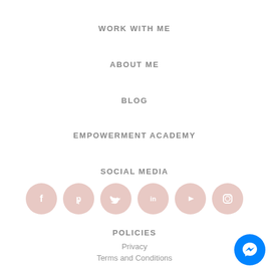WORK WITH ME
ABOUT ME
BLOG
EMPOWERMENT ACADEMY
SOCIAL MEDIA
[Figure (illustration): Row of six social media icon circles (Facebook, Pinterest, Twitter, LinkedIn, YouTube, Instagram) in muted pink/rose color]
POLICIES
Privacy
Terms and Conditions
[Figure (logo): Facebook Messenger floating button circle in blue]